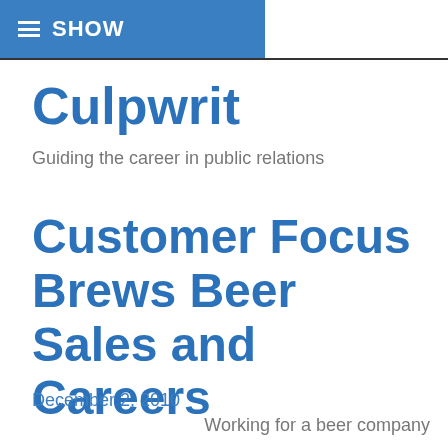≡ SHOW
Culpwrit
Guiding the career in public relations
Customer Focus Brews Beer Sales and Careers
December 2, 2010
Working for a beer company